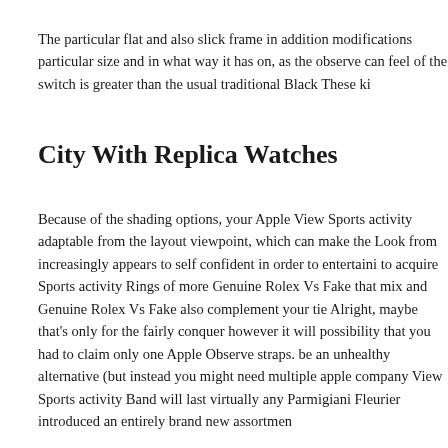The particular flat and also slick frame in addition modifications particular size and in what way it has on, as the observe can feel of the switch is greater than the usual traditional Black These ki
City With Replica Watches
Because of the shading options, your Apple View Sports activity adaptable from the layout viewpoint, which can make the Look from increasingly appears to self confident in order to entertaini to acquire Sports activity Rings of more Genuine Rolex Vs Fake that mix and Genuine Rolex Vs Fake also complement your tie Alright, maybe that's only for the fairly conquer however it will possibility that you had to claim only one Apple Observe straps. be an unhealthy alternative (but instead you might need multiple apple company View Sports activity Band will last virtually any Parmigiani Fleurier introduced an entirely brand new assortmen